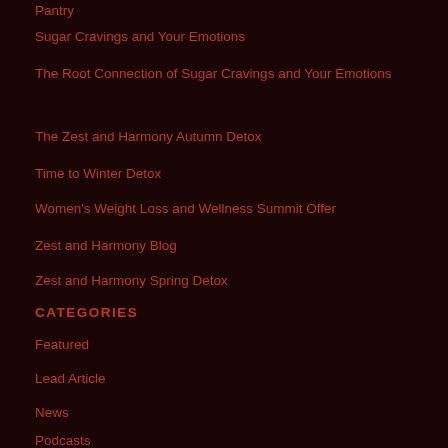Pantry
Sugar Cravings and Your Emotions
The Root Connection of Sugar Cravings and Your Emotions
The Zest and Harmony Autumn Detox
Time to Winter Detox
Women's Weight Loss and Wellness Summit Offer
Zest and Harmony Blog
Zest and Harmony Spring Detox
CATEGORIES
Featured
Lead Article
News
Podcasts